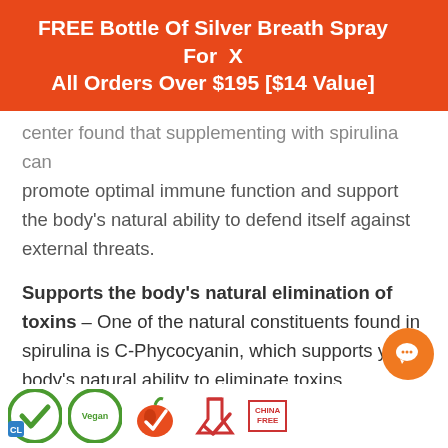FREE Bottle Of Silver Breath Spray For All Orders Over $195 [$14 Value]
center found that supplementing with spirulina can promote optimal immune function and support the body's natural ability to defend itself against external threats.
Supports the body's natural elimination of toxins – One of the natural constituents found in spirulina is C-Phycocyanin, which supports your body's natural ability to eliminate toxins.
Explore More About Health Ranger Select Hawiian Spirulina Now!
[Figure (logo): Row of certification logos at the bottom: green checkmark circles, Vegan label, apple checkmark, red lab flask checkmark, CHINA FREE box]